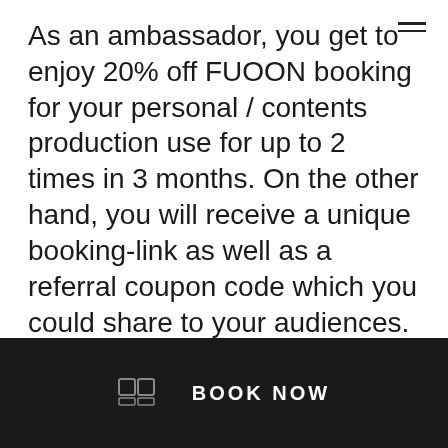As an ambassador, you get to enjoy 20% off FUOON booking for your personal / contents production use for up to 2 times in 3 months. On the other hand, you will receive a unique booking-link as well as a referral coupon code which you could share to your audiences.
Margin Share
If a conversion occurs via an influencer post, we will pay 5% of the sales as a commission.
BOOK NOW